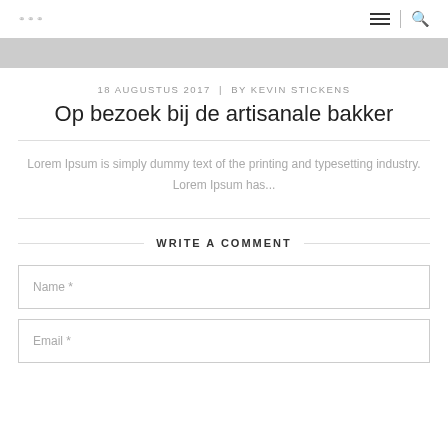logo | menu | search
[Figure (photo): Gray banner image at top of article]
18 AUGUSTUS 2017  |  BY KEVIN STICKENS
Op bezoek bij de artisanale bakker
Lorem Ipsum is simply dummy text of the printing and typesetting industry. Lorem Ipsum has...
WRITE A COMMENT
Name *
Email *